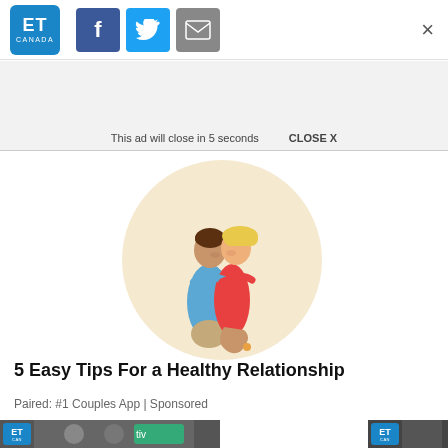ET CANADA — social share icons (Facebook, Twitter, Email) — Close X
This ad will close in 5 seconds   CLOSE X
[Figure (illustration): Cartoon illustration of a couple embracing and kissing inside a circular beige background. A man in a blue shirt holds a woman in a red dress who has her leg raised.]
5 Easy Tips For a Healthy Relationship
Paired: #1 Couples App | Sponsored
[Figure (screenshot): Bottom row of two thumbnail images with ET Canada logos, partially visible.]